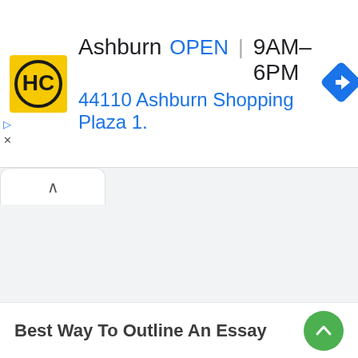[Figure (screenshot): Ad banner showing HC logo with business info: Ashburn, OPEN, 9AM-6PM, 44110 Ashburn Shopping Plaza 1., with navigation diamond icon]
Ashburn  OPEN  9AM–6PM
44110 Ashburn Shopping Plaza 1.
Best Way To Outline An Essay